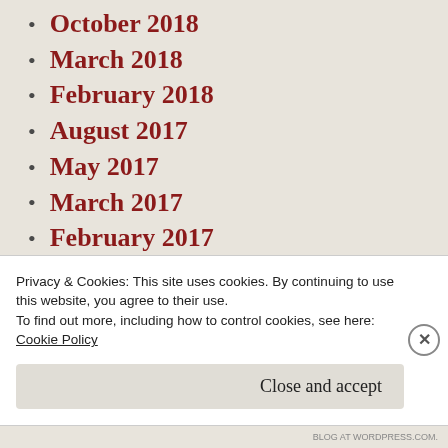October 2018
March 2018
February 2018
August 2017
May 2017
March 2017
February 2017
January 2017
June 2015
April 2015
March 2015
Privacy & Cookies: This site uses cookies. By continuing to use this website, you agree to their use.
To find out more, including how to control cookies, see here:
Cookie Policy
Close and accept
BLOG AT WORDPRESS.COM.